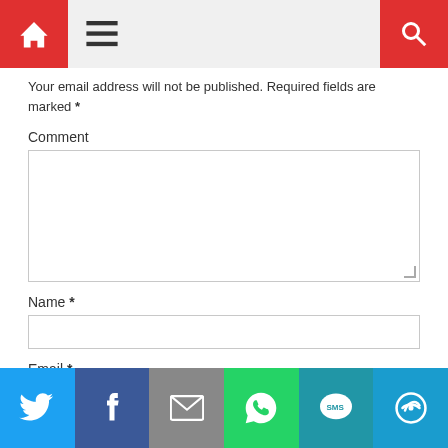Navigation bar with home, menu, and search icons
Your email address will not be published. Required fields are marked *
Comment
Name *
Email *
[Figure (infographic): Social share bar with Twitter, Facebook, Email, WhatsApp, SMS, and More buttons]